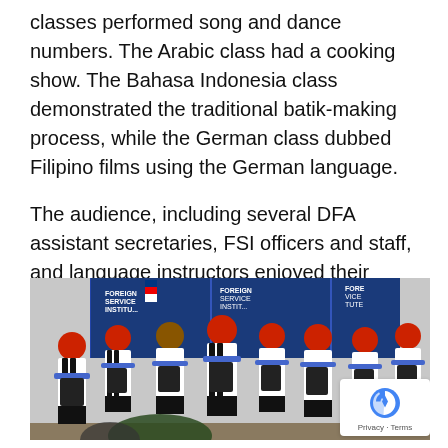classes performed song and dance numbers. The Arabic class had a cooking show. The Bahasa Indonesia class demonstrated the traditional batik-making process, while the German class dubbed Filipino films using the German language.

The audience, including several DFA assistant secretaries, FSI officers and staff, and language instructors enjoyed their performances.
[Figure (photo): Group photo of students wearing red berets and striped shirts with blue scarves, holding black folders and singing/performing, standing in front of a Foreign Service Institute banner backdrop.]